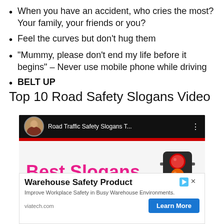When you have an accident, who cries the most? Your family, your friends or you?
Feel the curves but don’t hug them
“Mummy, please don’t end my life before it begins” – Never use mobile phone while driving
BELT UP
Top 10 Road Safety Slogans Video
[Figure (screenshot): YouTube video thumbnail showing 'Road Traffic Safety Slogans T...' with a woman avatar, red bar, 'Best Slogans' text in pink, and a traffic light graphic]
[Figure (screenshot): Advertisement banner for 'Warehouse Safety Product' from viatech.com with a 'Learn More' button]